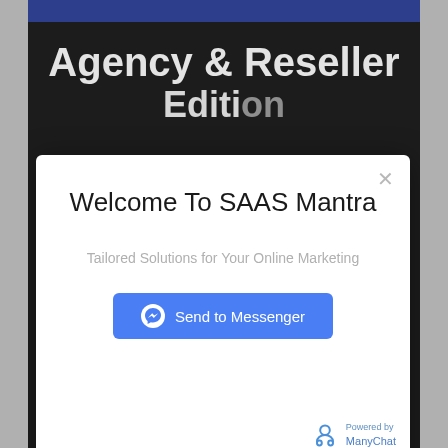[Figure (screenshot): Screenshot of a website showing a modal popup for SAAS Mantra with 'Agency & Reseller Edition' text visible behind the modal. The modal contains 'Welcome To SAAS Mantra' heading, subtitle 'Tailored Solutions for Your Online Marketing', a blue 'Send to Messenger' button, and ManyChat branding. Behind the modal, the dark website shows partial text 'Agency & Reseller Edition' at top and 'materials.' and '⇒ All the support is taken care of.' at bottom. A red scroll-up button is visible at bottom right.]